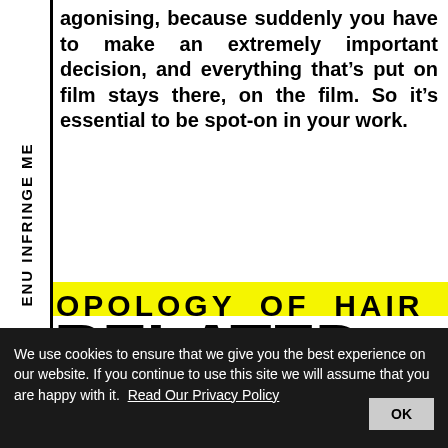MENU INFRINGE ME
agonising, because suddenly you have to make an extremely important decision, and everything that's put on film stays there, on the film. So it's essential to be spot-on in your work.
OPOLOGY OF HAIR
RELATED
[Figure (photo): Black and white close-up photo of white/grey hair styled in a rounded shape against a dark background]
We use cookies to ensure that we give you the best experience on our website. If you continue to use this site we will assume that you are happy with it.  Read Our Privacy Policy   OK